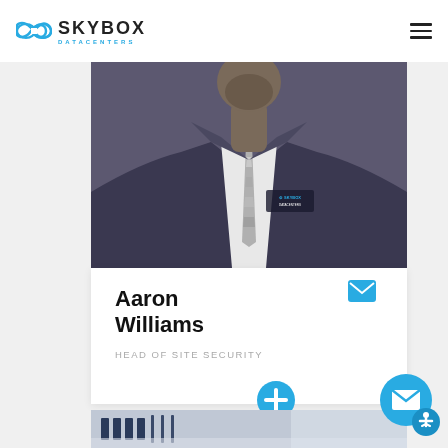[Figure (logo): Skybox Datacenters logo with infinity-loop icon in blue and company name]
[Figure (photo): Person wearing a dark suit jacket with Skybox Datacenters logo badge and striped tie, cropped at chest/torso level]
Aaron Williams
HEAD OF SITE SECURITY
[Figure (illustration): Blue email envelope icon]
[Figure (illustration): Teal plus/add circle button]
[Figure (photo): Partial view of data center interior, blurred background]
[Figure (illustration): Blue circular chat/email button with envelope icon and accessibility icon in bottom right corner]